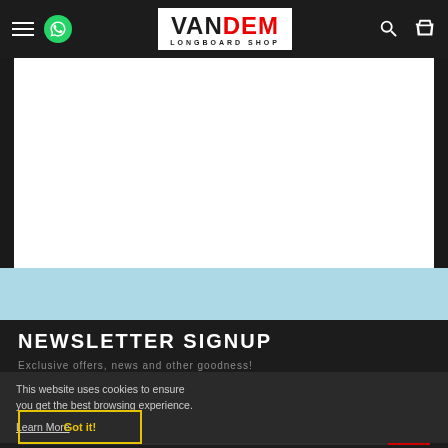VANDEM LONGBOARD SHOP — navigation header
[Figure (screenshot): White content area placeholder on light blue background]
NEWSLETTER SIGNUP
Exclusive offers, news and other goodness!
This website uses cookies to ensure you get the best browsing experience. Learn More
Got it!
[Figure (other): Social media icons row: Facebook, Pinterest, Instagram, Google+, Tumblr, YouTube]